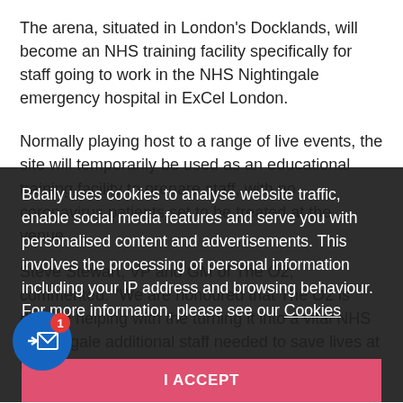The arena, situated in London's Docklands, will become an NHS training facility specifically for staff going to work in the NHS Nightingale emergency hospital in ExCel London.
Normally playing host to a range of live events, the site will temporarily be used as an educational training facility to prepare staff, with no coronavirus patients set to be treated at the venue.
Steve Stewart, VP and GM of The O2, commented: "We are honoured that The O2 is directly helping with the [NHS], turning it into a vital NHS Nightingale additional staff needed to save lives at this crucial time.
Bdaily uses cookies to analyse website traffic, enable social media features and serve you with personalised content and advertisements. This involves the processing of personal information including your IP address and browsing behaviour. For more information, please see our Cookies Policy
I ACCEPT
...ould like to extend our gratitude to the NHS,